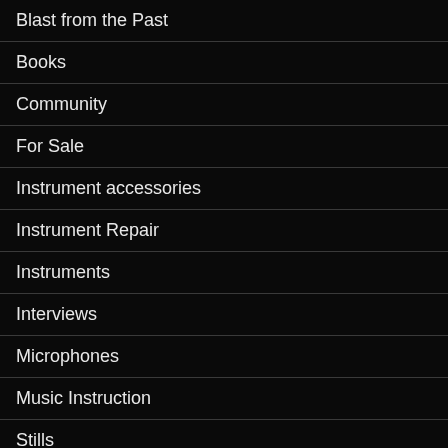Blast from the Past
Books
Community
For Sale
Instrument accessories
Instrument Repair
Instruments
Interviews
Microphones
Music Instruction
Stills
Studio News
Studio Recorders